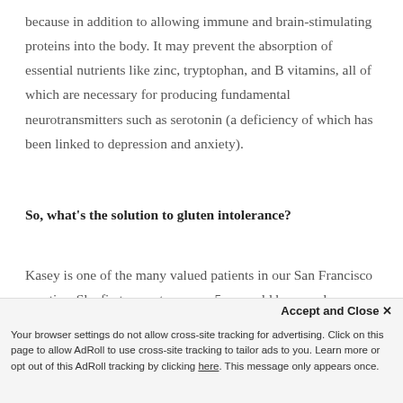because in addition to allowing immune and brain-stimulating proteins into the body. It may prevent the absorption of essential nutrients like zinc, tryptophan, and B vitamins, all of which are necessary for producing fundamental neurotransmitters such as serotonin (a deficiency of which has been linked to depression and anxiety).
So, what's the solution to gluten intolerance?
Kasey is one of the many valued patients in our San Francisco practice. She first came to us as a 5-year-old because her parents were struggling to figure out why she was having ongoing tantrums and overall negative mood and behavioral issues outside what was considered typical for a child of her
Accept and Close ✕
Your browser settings do not allow cross-site tracking for advertising. Click on this page to allow AdRoll to use cross-site tracking to tailor ads to you. Learn more or opt out of this AdRoll tracking by clicking here. This message only appears once.